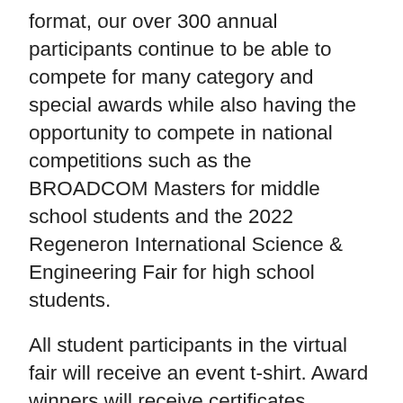format, our over 300 annual participants continue to be able to compete for many category and special awards while also having the opportunity to compete in national competitions such as the BROADCOM Masters for middle school students and the 2022 Regeneron International Science & Engineering Fair for high school students.
All student participants in the virtual fair will receive an event t-shirt. Award winners will receive certificates, ribbons, plaques, and/or monetary awards (KY-SEF check payable to winner). If your school is open, these items will be mailed to your school. Otherwise, they will be sent USPS to the address provided by you in STEM Wizard. If you provide your school address and your school is closed, your award items may not be received.